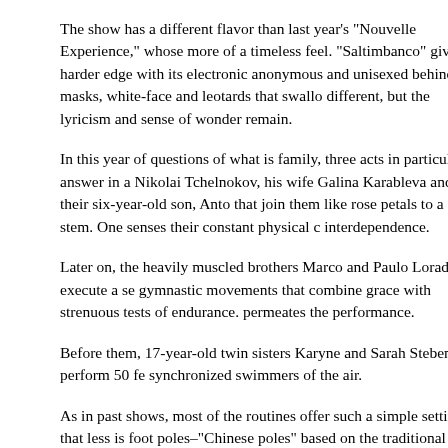The show has a different flavor than last year's "Nouvelle Experience," whose more of a timeless feel. "Saltimbanco" gives a harder edge with its electronic anonymous and unisexed behind masks, white-face and leotards that swallo different, but the lyricism and sense of wonder remain.
In this year of questions of what is family, three acts in particular answer in a Nikolai Tchelnokov, his wife Galina Karableva and their six-year-old son, Anto that join them like rose petals to a stem. One senses their constant physical c interdependence.
Later on, the heavily muscled brothers Marco and Paulo Lorador execute a se gymnastic movements that combine grace with strenuous tests of endurance. permeates the performance.
Before them, 17-year-old twin sisters Karyne and Sarah Steben perform 50 fe synchronized swimmers of the air.
As in past shows, most of the routines offer such a simple setting that less is foot poles–"Chinese poles" based on the traditional Chinese circus–and appe and feathers. A juggler, Miguel Herrera, performs on an acrylic set of stairs.
Jingmin Wang walks up a guy wire to a set of uneven tightropes where she d